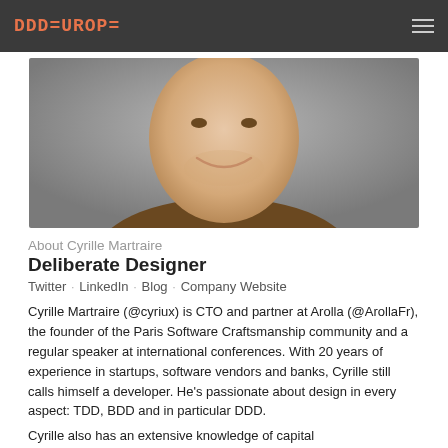DDDEUROPE
[Figure (photo): Headshot photo of Cyrille Martraire, a man smiling, wearing a brown jacket, with a grey background.]
About Cyrille Martraire
Deliberate Designer
Twitter · LinkedIn · Blog · Company Website
Cyrille Martraire (@cyriux) is CTO and partner at Arolla (@ArollaFr), the founder of the Paris Software Craftsmanship community and a regular speaker at international conferences. With 20 years of experience in startups, software vendors and banks, Cyrille still calls himself a developer. He's passionate about design in every aspect: TDD, BDD and in particular DDD.
Cyrille also has an extensive knowledge of capital